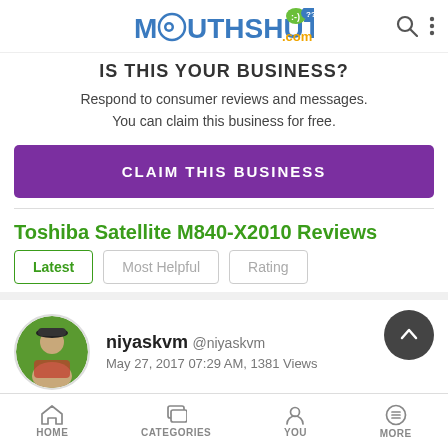MOUTHSHUT.com
IS THIS YOUR BUSINESS?
Respond to consumer reviews and messages. You can claim this business for free.
CLAIM THIS BUSINESS
Toshiba Satellite M840-X2010 Reviews
Latest
Most Helpful
Rating
niyaskvm @niyaskvm
May 27, 2017 07:29 AM, 1381 Views
HOME  CATEGORIES  YOU  MORE